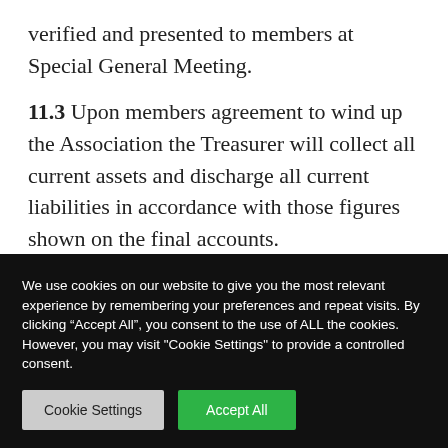verified and presented to members at Special General Meeting.
11.3 Upon members agreement to wind up the Association the Treasurer will collect all current assets and discharge all current liabilities in accordance with those figures shown on the final accounts.
We use cookies on our website to give you the most relevant experience by remembering your preferences and repeat visits. By clicking “Accept All”, you consent to the use of ALL the cookies. However, you may visit "Cookie Settings" to provide a controlled consent.
Cookie Settings | Accept All